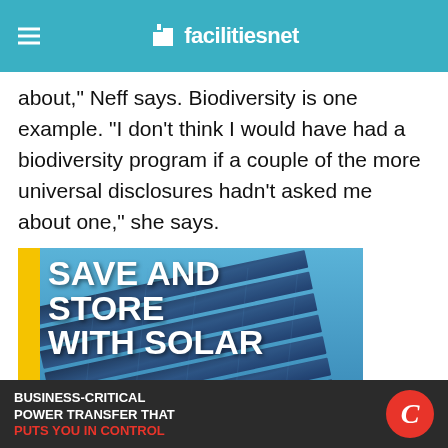facilitiesnet
about," Neff says. Biodiversity is one example. "I don't think I would have had a biodiversity program if a couple of the more universal disclosures hadn't asked me about one," she says.
[Figure (photo): Caterpillar advertisement showing solar panels with text 'SAVE AND STORE WITH SOLAR', Cat Hybrid Energy Solutions, LEARN MORE button, CAT logo with triangle and LET'S DO THE WORK slogan]
[Figure (infographic): Cummins advertisement banner: BUSINESS-CRITICAL POWER TRANSFER THAT PUTS YOU IN CONTROL, with Cummins red circular logo]